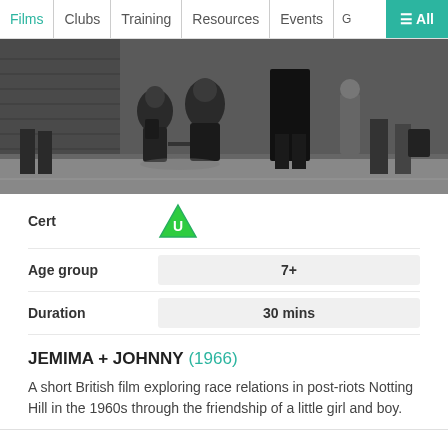Films | Clubs | Training | Resources | Events | ≡ All
[Figure (photo): Black and white film still showing children walking hand-in-hand on a street with adults in the background]
| Field | Value |
| --- | --- |
| Cert | U |
| Age group | 7+ |
| Duration | 30 mins |
JEMIMA + JOHNNY (1966)
A short British film exploring race relations in post-riots Notting Hill in the 1960s through the friendship of a little girl and boy.